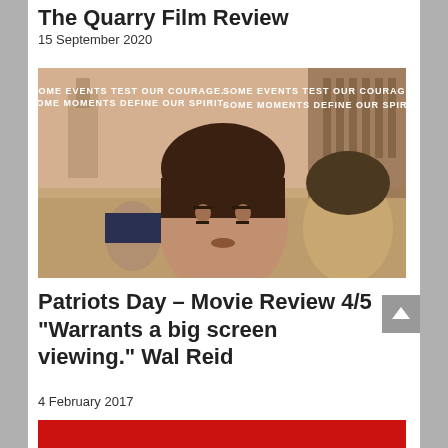The Quarry Film Review
15 September 2020
[Figure (photo): Movie poster for Patriots Day showing a man in the foreground looking intense, with a crowd in a city street behind him and another person to the right. Text reads: SOME EVENTS TEST OUR COURAGE. SOME MOMENTS DEFINE OUR SPIRIT.]
Patriots Day – Movie Review 4/5 "Warrants a big screen viewing." Wal Reid
4 February 2017
[Figure (photo): Bottom portion of a movie poster or film image with a red background showing people's heads/faces at the bottom of the frame.]